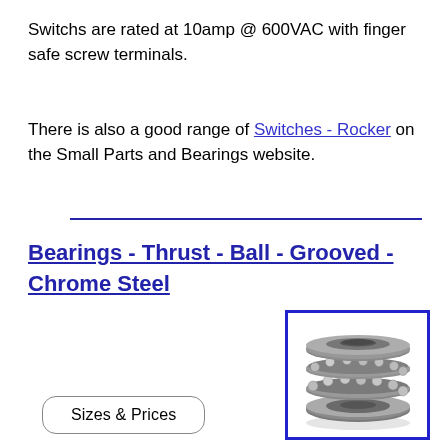Switchs are rated at 10amp @ 600VAC with finger safe screw terminals.
There is also a good range of Switches - Rocker on the Small Parts and Bearings website.
Bearings - Thrust - Ball - Grooved - Chrome Steel
[Figure (photo): Thrust ball bearing with grooved chrome steel rings, shown in a stacked side view with visible ball elements between races, inside a blue-bordered box.]
Sizes & Prices